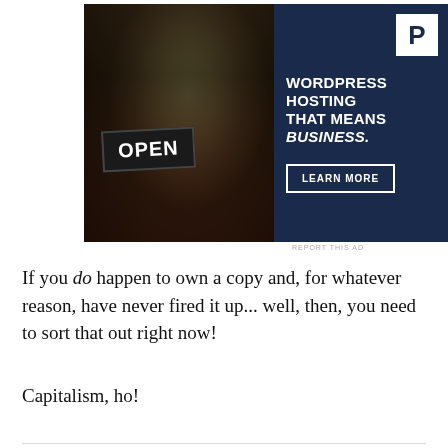[Figure (photo): Advertisement: WordPress hosting banner ad with a smiling woman holding an OPEN sign, alongside dark navy panel with 'WORDPRESS HOSTING THAT MEANS BUSINESS.' headline, a P logo, and a LEARN MORE button.]
REPORT THIS AD
If you do happen to own a copy and, for whatever reason, have never fired it up... well, then, you need to sort that out right now!
Capitalism, ho!